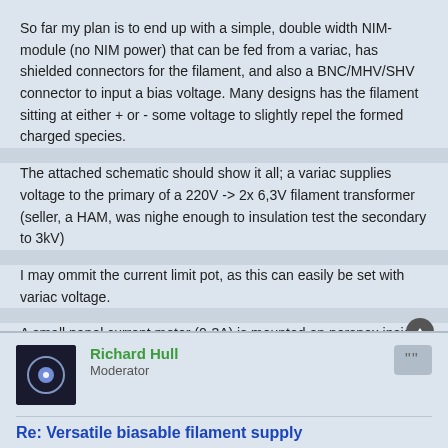So far my plan is to end up with a simple, double width NIM-module (no NIM power) that can be fed from a variac, has shielded connectors for the filament, and also a BNC/MHV/SHV connector to input a bias voltage. Many designs has the filament sitting at either + or - some voltage to slightly repel the formed charged species.
The attached schematic should show it all; a variac supplies voltage to the primary of a 220V -> 2x 6,3V filament transformer (seller, a HAM, was nighe enough to insulation test the secondary to 3kV)
I may ommit the current limit pot, as this can easily be set with variac voltage.
A small panel current meter (0-3A) is mounted on perspex inside the grounded box - and viewed through a perspex window in the front panel
Any comments? feature ideas and design changes are welcome!
[Figure (other): Thumbnail attachment image labeled filament2.jpg]
Richard Hull
Moderator
Re: Versatile biasable filament supply